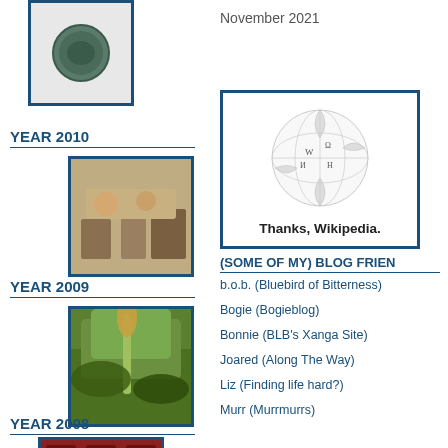[Figure (photo): Small dark coin or object on white background]
YEAR 2010
[Figure (photo): Two people seated in a room, meeting scene]
November 2021
[Figure (other): Wikipedia globe logo with text Thanks, Wikipedia.]
(SOME OF MY) BLOG FRIEN
b.o.b. (Bluebird of Bitterness)
Bogie (Bogieblog)
Bonnie (BLB's Xanga Site)
Joared (Along The Way)
Liz (Finding life hard?)
Murr (Murrmurrs)
YEAR 2009
[Figure (photo): Plant with green foliage and dark stem]
YEAR 2008
[Figure (photo): Decorative patterned image, dark red/maroon]